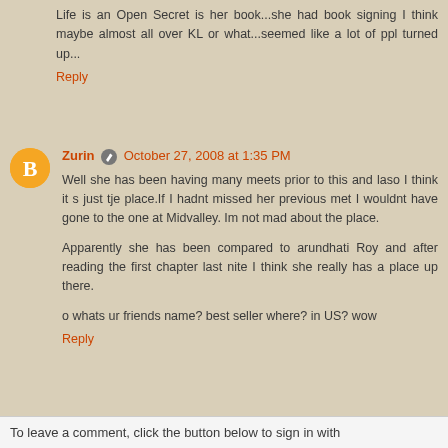Life is an Open Secret is her book...she had book signing I think maybe almost all over KL or what...seemed like a lot of ppl turned up...
Reply
Zurin  October 27, 2008 at 1:35 PM
Well she has been having many meets prior to this and laso I think it s just tje place.If I hadnt missed her previous met I wouldnt have gone to the one at Midvalley. Im not mad about the place.
Apparently she has been compared to arundhati Roy and after reading the first chapter last nite I think she really has a place up there.
o whats ur friends name? best seller where? in US? wow
Reply
To leave a comment, click the button below to sign in with